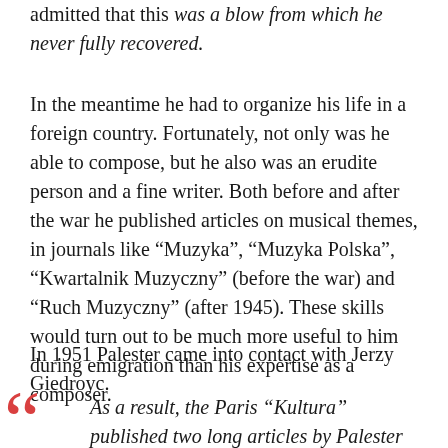admitted that this was a blow from which he never fully recovered.
In the meantime he had to organize his life in a foreign country. Fortunately, not only was he able to compose, but he also was an erudite person and a fine writer. Both before and after the war he published articles on musical themes, in journals like “Muzyka”, “Muzyka Polska”, “Kwartalnik Muzyczny” (before the war) and “Ruch Muzyczny” (after 1945). These skills would turn out to be much more useful to him during emigration than his expertise as a composer.
In 1951 Palester came into contact with Jerzy Giedroyc.
As a result, the Paris “Kultura” published two long articles by Palester